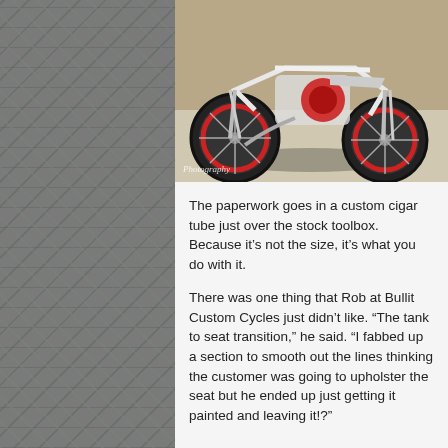[Figure (photo): Custom motorcycle viewed from front-low angle showing red-rimmed spoke wheels, white/silver frame against a brick wall background. Watermark 'Photography' in bottom left corner.]
The paperwork goes in a custom cigar tube just over the stock toolbox. Because it’s not the size, it’s what you do with it.
There was one thing that Rob at Bullit Custom Cycles just didn’t like. “The tank to seat transition,” he said. “I fabbed up a section to smooth out the lines thinking the customer was going to upholster the seat but he ended up just getting it painted and leaving it!?”
[Figure (photo): Two custom motorcycles parked outside a rustic wooden barn/garage. A dark-colored cafe racer on the left and a white/silver custom motorcycle on the right with red seat. Bare winter trees visible in background.]